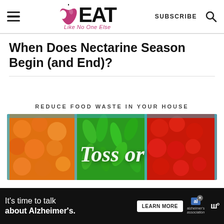EAT Like No One Else — SUBSCRIBE
When Does Nectarine Season Begin (and End)?
REDUCE FOOD WASTE IN YOUR HOUSE
[Figure (photo): Colorful vegetables in market trays — yellow/orange tomatoes on left, green peppers in center, red tomatoes on right, with cursive text overlay reading 'Toss or']
It's time to talk about Alzheimer's. LEARN MORE